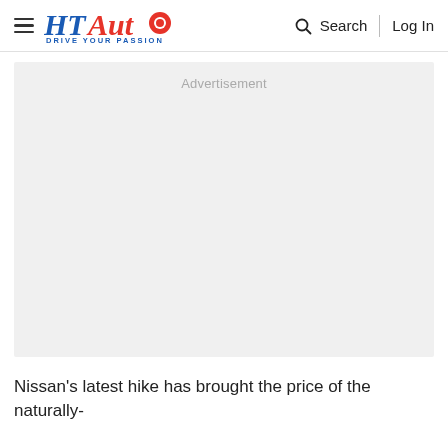HT Auto - Drive Your Passion | Search | Log In
[Figure (other): Advertisement placeholder block with light gray background]
Nissan's latest hike has brought the price of the naturally-